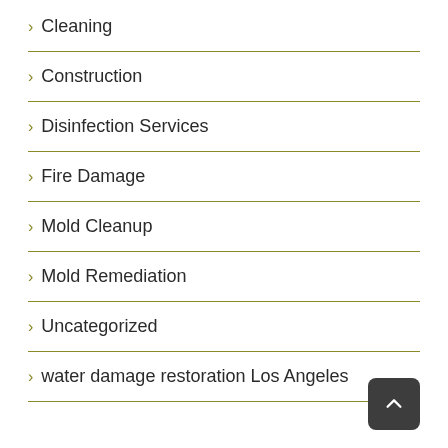Cleaning
Construction
Disinfection Services
Fire Damage
Mold Cleanup
Mold Remediation
Uncategorized
water damage restoration Los Angeles